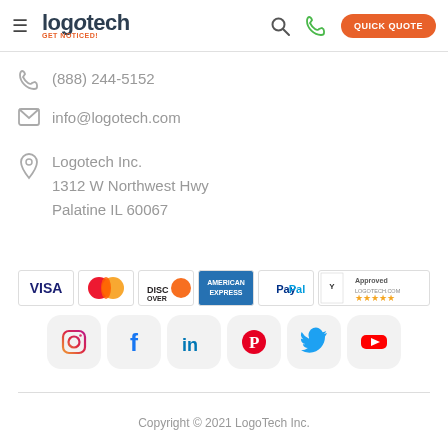logotech GET NOTICED! (navigation bar with search, phone, Quick Quote)
(888) 244-5152
info@logotech.com
Logotech Inc.
1312 W Northwest Hwy
Palatine IL 60067
[Figure (logo): Payment method logos: VISA, Mastercard, Discover, American Express, PayPal, Approved (Logotech.com 5-star rating)]
[Figure (logo): Social media icons: Instagram, Facebook, LinkedIn, Pinterest, Twitter, YouTube]
Copyright © 2021 LogoTech Inc.